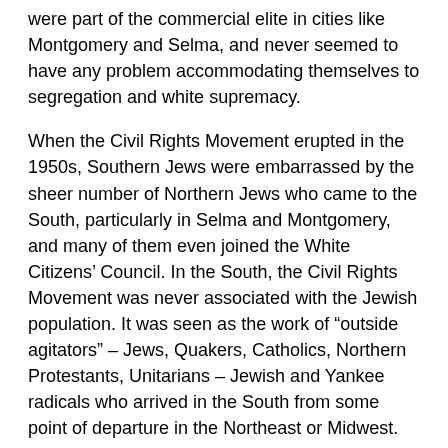were part of the commercial elite in cities like Montgomery and Selma, and never seemed to have any problem accommodating themselves to segregation and white supremacy.
When the Civil Rights Movement erupted in the 1950s, Southern Jews were embarrassed by the sheer number of Northern Jews who came to the South, particularly in Selma and Montgomery, and many of them even joined the White Citizens' Council. In the South, the Civil Rights Movement was never associated with the Jewish population. It was seen as the work of "outside agitators" – Jews, Quakers, Catholics, Northern Protestants, Unitarians – Jewish and Yankee radicals who arrived in the South from some point of departure in the Northeast or Midwest.
The history of the South is different from the history of the North. The threat to the South's racial order has always come from the outside – through the existence of the Union – whereas in the North it has always come from the enemy within.